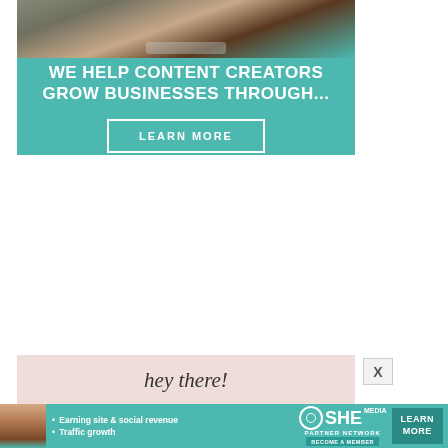[Figure (photo): Advertisement banner showing a woman working on a laptop with a teal/turquoise background. Text reads 'WE HELP CONTENT CREATORS GROW BUSINESSES THROUGH...' with a 'LEARN MORE' button.]
[Figure (infographic): Bottom advertisement banner for SHE Partner Network with text 'hey there!' on pink background.]
[Figure (infographic): SHE Partner Network banner ad with bullets: Earning site & social revenue, Traffic growth. With LEARN MORE button and BECOME A MEMBER tag.]